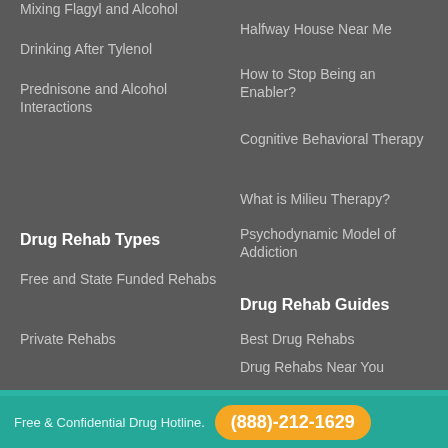Mixing Flagyl and Alcohol
Drinking After Tylenol
Prednisone and Alcohol Interactions
Halfway House Near Me
How to Stop Being an Enabler?
Cognitive Behavioral Therapy
What is Milieu Therapy?
Psychodynamic Model of Addiction
Drug Rehab Types
Drug Rehab Guides
Free and State Funded Rehabs
Private Rehabs
Best Drug Rehabs
Drug Rehabs Near You
Table of Contents
Free & Confidential Drug Hotline.
(888)-212-1629